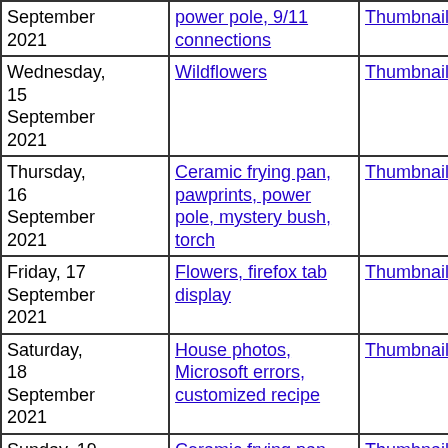| Date | Description | Thumbnails | Small photos | diary |
| --- | --- | --- | --- | --- |
| September 2021 | power pole, 9/11 connections | Thumbnails | Small photos | diary |
| Wednesday, 15 September 2021 | Wildflowers | Thumbnails | Small photos | diary |
| Thursday, 16 September 2021 | Ceramic frying pan, pawprints, power pole, mystery bush, torch | Thumbnails | Small photos | diary |
| Friday, 17 September 2021 | Flowers, firefox tab display | Thumbnails | Small photos | diary |
| Saturday, 18 September 2021 | House photos, Microsoft errors, customized recipe | Thumbnails | Small photos | diary |
| Sunday, 19 September 2021 | Ceramic frying pan, flowering fern | Thumbnails | Small photos | diary |
| Tuesday, 21 September 2021 | Analemma, Yvonne 's new saddle, site of riding arena, sausages and | Thumbnails | Small photos | diary |